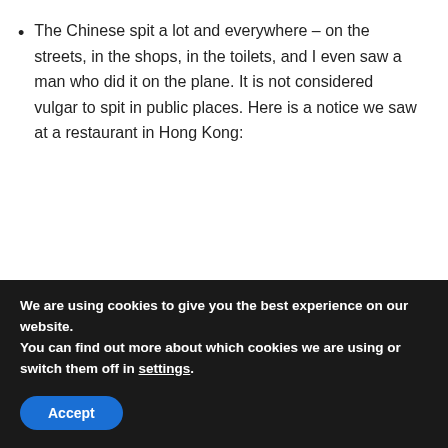The Chinese spit a lot and everywhere – on the streets, in the shops, in the toilets, and I even saw a man who did it on the plane. It is not considered vulgar to spit in public places. Here is a notice we saw at a restaurant in Hong Kong:
[Figure (photo): A photo of a sign with Chinese characters at a restaurant in Hong Kong, mounted on a golden/beige wall. The sign reads: 炎請避維 庭不免護 口要將公]
We are using cookies to give you the best experience on our website.
You can find out more about which cookies we are using or switch them off in settings.